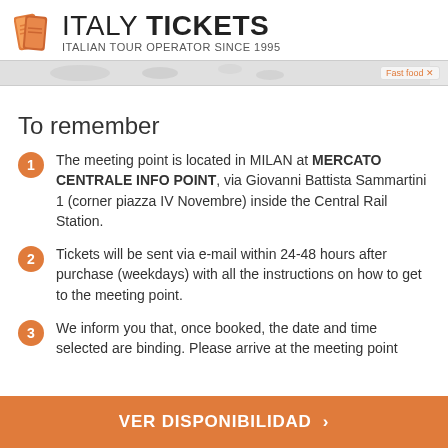ITALY TICKETS — ITALIAN TOUR OPERATOR SINCE 1995
[Figure (screenshot): Navigation strip with blurred map/navigation elements and 'Fast food' label on right]
To remember
The meeting point is located in MILAN at MERCATO CENTRALE INFO POINT, via Giovanni Battista Sammartini 1 (corner piazza IV Novembre) inside the Central Rail Station.
Tickets will be sent via e-mail within 24-48 hours after purchase (weekdays) with all the instructions on how to get to the meeting point.
We inform you that, once booked, the date and time selected are binding. Please arrive at the meeting point
VER DISPONIBILIDAD >